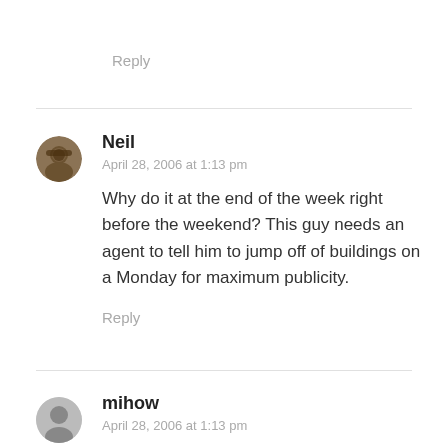Reply
Neil
April 28, 2006 at 1:13 pm
Why do it at the end of the week right before the weekend? This guy needs an agent to tell him to jump off of buildings on a Monday for maximum publicity.
Reply
mihow
April 28, 2006 at 1:13 pm